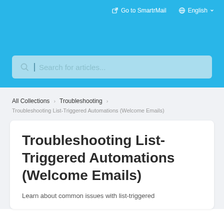Go to SmartrMail   English
Search for articles...
All Collections > Troubleshooting
Troubleshooting List-Triggered Automations (Welcome Emails)
Troubleshooting List-Triggered Automations (Welcome Emails)
Learn about common issues with list-triggered